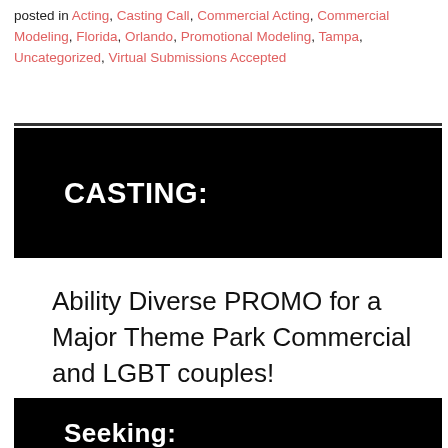posted in Acting, Casting Call, Commercial Acting, Commercial Modeling, Florida, Orlando, Promotional Modeling, Tampa, Uncategorized, Virtual Submissions Accepted
CASTING:
Ability Diverse PROMO for a Major Theme Park Commercial and LGBT couples!
Seeking: